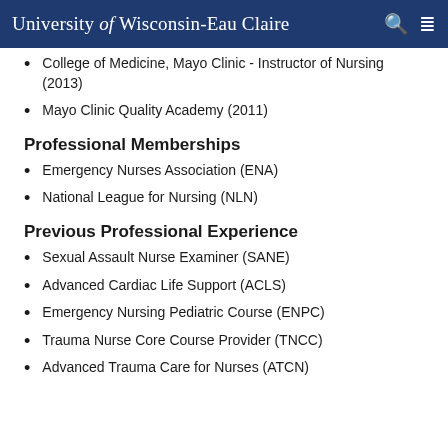University of Wisconsin-Eau Claire
College of Medicine, Mayo Clinic - Instructor of Nursing (2013)
Mayo Clinic Quality Academy (2011)
Professional Memberships
Emergency Nurses Association (ENA)
National League for Nursing (NLN)
Previous Professional Experience
Sexual Assault Nurse Examiner (SANE)
Advanced Cardiac Life Support (ACLS)
Emergency Nursing Pediatric Course (ENPC)
Trauma Nurse Core Course Provider (TNCC)
Advanced Trauma Care for Nurses (ATCN)